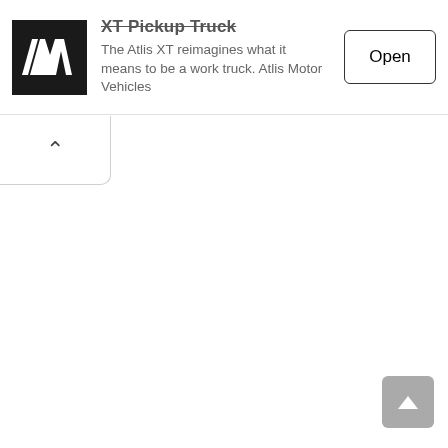[Figure (screenshot): Advertisement banner for Atlis XT Pickup Truck by Atlis Motor Vehicles. Contains AMV logo on black background, ad text, and an Open button.]
XT Pickup Truck
The Atlis XT reimagines what it means to be a work truck. Atlis Motor Vehicles
[Figure (other): Collapse/minimize tab with upward chevron arrow, positioned below the ad banner on the left side.]
[Figure (other): Scroll-to-top button in gray with white upward chevron, positioned at bottom right of page.]